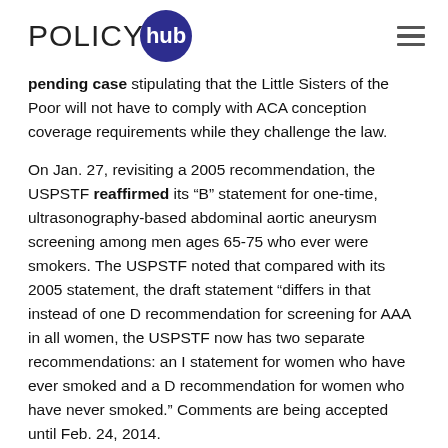POLICYhub
pending case stipulating that the Little Sisters of the Poor will not have to comply with ACA conception coverage requirements while they challenge the law.
On Jan. 27, revisiting a 2005 recommendation, the USPSTF reaffirmed its “B” statement for one-time, ultrasonography-based abdominal aortic aneurysm screening among men ages 65-75 who ever were smokers. The USPSTF noted that compared with its 2005 statement, the draft statement “differs in that instead of one D recommendation for screening for AAA in all women, the USPSTF now has two separate recommendations: an I statement for women who have ever smoked and a D recommendation for women who have never smoked.” Comments are being accepted until Feb. 24, 2014.